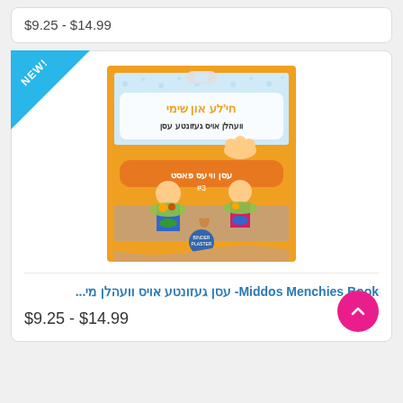$9.25 - $14.99
[Figure (illustration): Children's book cover 'Middos Menchies' with cartoon children holding food plates, orange background with Yiddish text]
Middos Menchies Book- עסן געזונטע אויס וועהלן מי...
$9.25 - $14.99